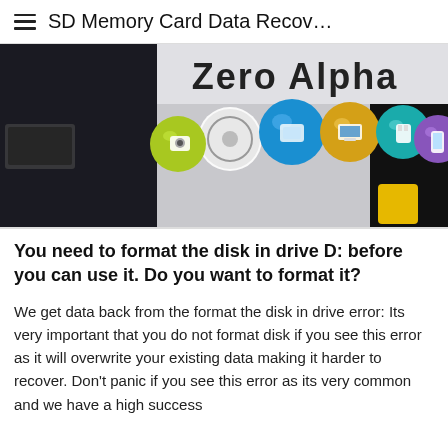SD Memory Card Data Recov…
[Figure (photo): Zero Alpha data recovery company storefront/office photo with colored circular icons for various storage device types (hard drive, flash drive, computer, SD card, camera, phone) overlaid on the image, with 'Zero Alpha' text visible.]
You need to format the disk in drive D: before you can use it. Do you want to format it?
We get data back from the format the disk in drive error: Its very important that you do not format disk if you see this error as it will overwrite your existing data making it harder to recover. Don't panic if you see this error as its very common and we have a high success